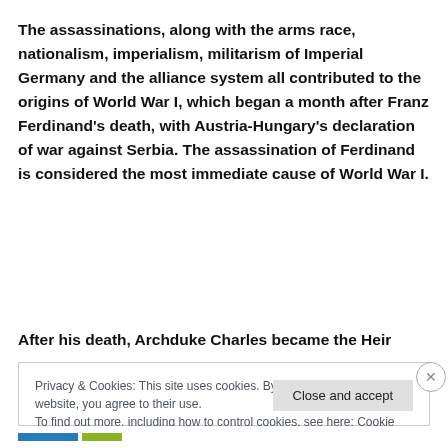The assassinations, along with the arms race, nationalism, imperialism, militarism of Imperial Germany and the alliance system all contributed to the origins of World War I, which began a month after Franz Ferdinand's death, with Austria-Hungary's declaration of war against Serbia. The assassination of Ferdinand is considered the most immediate cause of World War I.
After his death, Archduke Charles became the Heir
Privacy & Cookies: This site uses cookies. By continuing to use this website, you agree to their use.
To find out more, including how to control cookies, see here: Cookie Policy